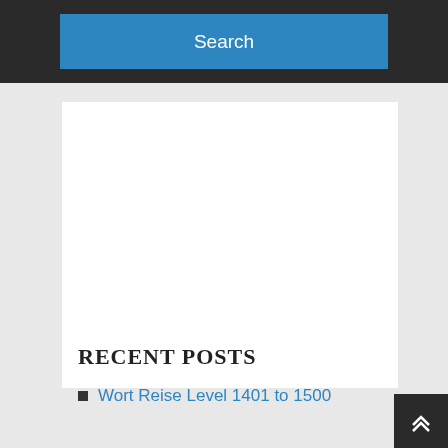[Figure (screenshot): Blue Search button on dark background navigation bar]
[Figure (screenshot): White content area placeholder (advertisement or empty block)]
RECENT POSTS
Wort Reise Level 1401 to 1500
[Figure (other): Back to top button with chevron-up arrow icon in dark square, bottom right corner]